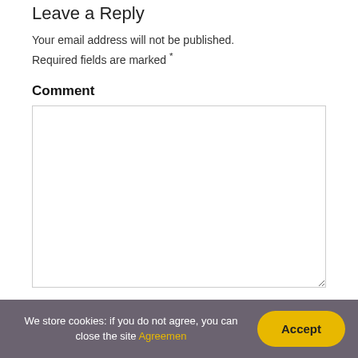Leave a Reply
Your email address will not be published. Required fields are marked *
Comment
(comment textarea box)
We store cookies: if you do not agree, you can close the site Agreemen